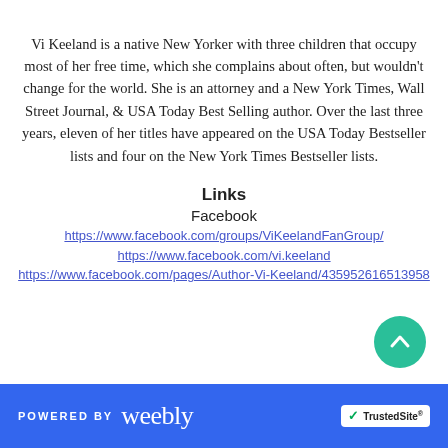Vi Keeland is a native New Yorker with three children that occupy most of her free time, which she complains about often, but wouldn't change for the world. She is an attorney and a New York Times, Wall Street Journal, & USA Today Best Selling author.  Over the last three years, eleven of her titles have appeared on the USA Today Bestseller lists and four on the New York Times Bestseller lists.
Links
Facebook
https://www.facebook.com/groups/ViKeelandFanGroup/
https://www.facebook.com/vi.keeland
https://www.facebook.com/pages/Author-Vi-Keeland/435952616513958
POWERED BY weebly | TrustedSite